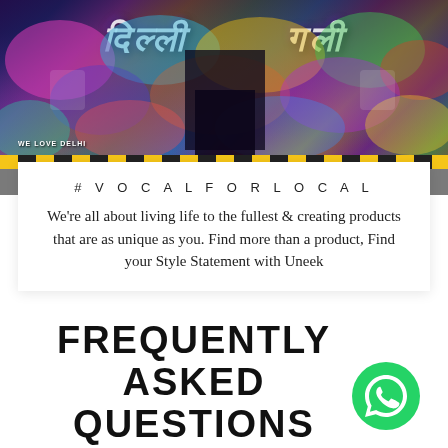[Figure (photo): Colorful graffiti-covered building exterior with vibrant street art in multiple colors including pink, blue, yellow, green and purple. A road with yellow and black curb is visible in the foreground. Text 'WE LOVE DELHI' visible on the building.]
#VOCALFORLOCAL
We're all about living life to the fullest & creating products that are as unique as you. Find more than a product, Find your Style Statement with Uneek
FREQUENTLY ASKED QUESTIONS
[Figure (logo): WhatsApp green circular logo icon]